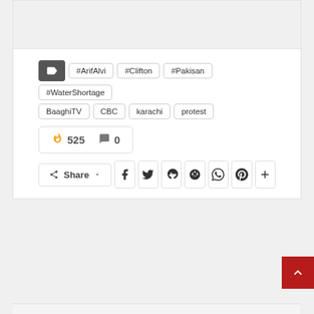[Figure (other): Top image placeholder area with light gray background, partial view of article image or banner]
#ArifAlvi
#Clifton
#Pakisan
#WaterShortage
BaaghiTV
CBC
karachi
protest
525  0
Share